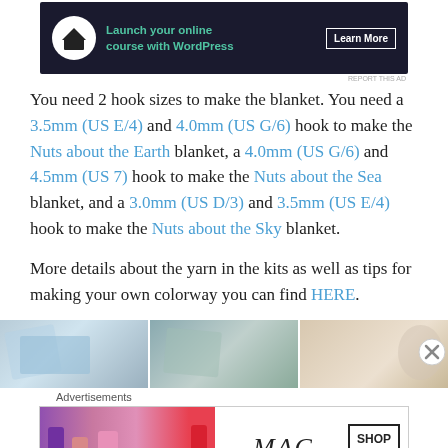[Figure (other): Advertisement banner: dark navy background with tree/house icon, green text 'Launch your online course with WordPress', white 'Learn More' button]
You need 2 hook sizes to make the blanket. You need a 3.5mm (US E/4) and 4.0mm (US G/6) hook to make the Nuts about the Earth blanket, a 4.0mm (US G/6) and 4.5mm (US 7) hook to make the Nuts about the Sea blanket, and a 3.0mm (US D/3) and 3.5mm (US E/4) hook to make the Nuts about the Sky blanket.
More details about the yarn in the kits as well as tips for making your own colorway you can find HERE.
[Figure (photo): Three photos side-by-side showing blue/teal crocheted blanket details and yarn/accessories]
Advertisements
[Figure (other): MAC cosmetics advertisement showing lipsticks with 'MAC' logo and 'SHOP NOW' button]